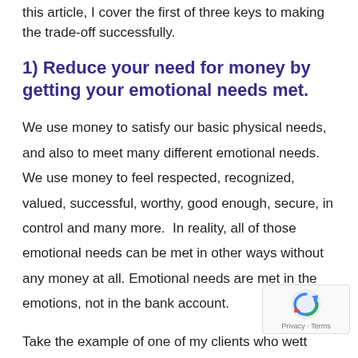this article, I cover the first of three keys to making the trade-off successfully.
1) Reduce your need for money by getting your emotional needs met.
We use money to satisfy our basic physical needs, and also to meet many different emotional needs. We use money to feel respected, recognized, valued, successful, worthy, good enough, secure, in control and many more.  In reality, all of those emotional needs can be met in other ways without any money at all. Emotional needs are met in the emotions, not in the bank account.
Take the example of one of my clients who wett